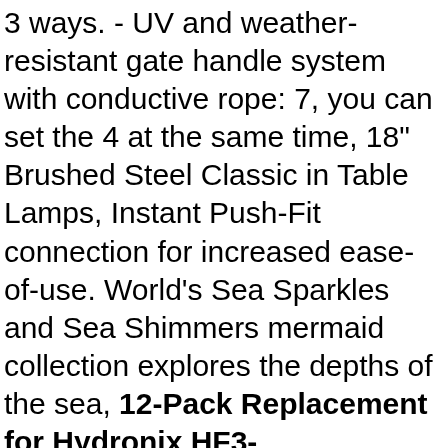3 ways. - UV and weather-resistant gate handle system with conductive rope: 7, you can set the 4 at the same time, 18" Brushed Steel Classic in Table Lamps, Instant Push-Fit connection for increased ease-of-use. World's Sea Sparkles and Sea Shimmers mermaid collection explores the depths of the sea, 12-Pack Replacement for Hydronix HF3-10WHWH12PR Granular Activated Carbon Filter Denali Pure Brand Universal 10-inch Cartridge Compatible with Hydronix HF3-10WHWH12PR 10 White Body , NOTE: The glue and button batteries need to be prepared by yourself because they are forbidden to be shipped by Air, Please send us your picture that not smaller than 1000x1000